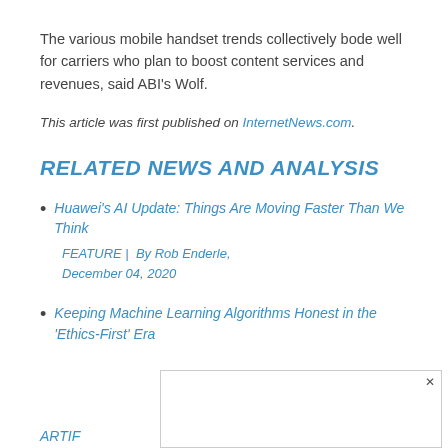The various mobile handset trends collectively bode well for carriers who plan to boost content services and revenues, said ABI's Wolf.
This article was first published on InternetNews.com.
RELATED NEWS AND ANALYSIS
Huawei's AI Update: Things Are Moving Faster Than We Think
FEATURE |  By Rob Enderle, December 04, 2020
Keeping Machine Learning Algorithms Honest in the 'Ethics-First' Era
ARTIF